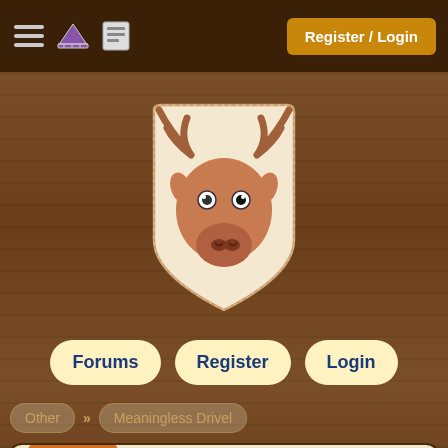Register / Login
[Figure (illustration): Cartoon moose head mounted on a decorative shield shape, hand-drawn style with brown tones]
Forums   Register   Login
Other » Meaningless Drivel
Facebook is fruitcake
Bear Bibeault , Sheriff staff
Dec 10, 2012 09:41:20
7
reply